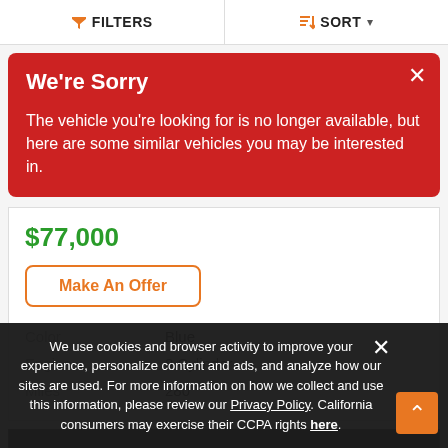FILTERS   SORT
We're Sorry
The vehicle you're looking for is no longer available, but here are some similar vehicles you may be interested in.
$77,000
Make An Offer
|  |  |
| --- | --- |
| Color | Blue |
| Engine | 8 Cylinder |
| Miles | 280 |
We use cookies and browser activity to improve your experience, personalize content and ads, and analyze how our sites are used. For more information on how we collect and use this information, please review our Privacy Policy. California consumers may exercise their CCPA rights here.